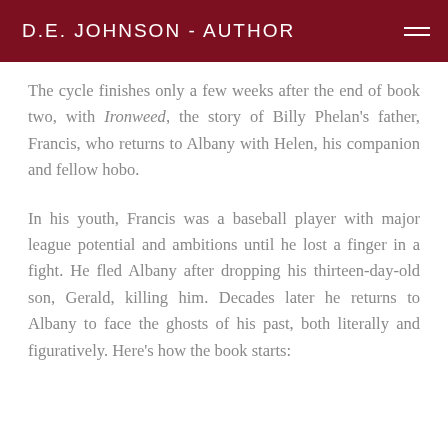D.E. JOHNSON - AUTHOR
The cycle finishes only a few weeks after the end of book two, with Ironweed, the story of Billy Phelan's father, Francis, who returns to Albany with Helen, his companion and fellow hobo.
In his youth, Francis was a baseball player with major league potential and ambitions until he lost a finger in a fight. He fled Albany after dropping his thirteen-day-old son, Gerald, killing him. Decades later he returns to Albany to face the ghosts of his past, both literally and figuratively. Here's how the book starts: